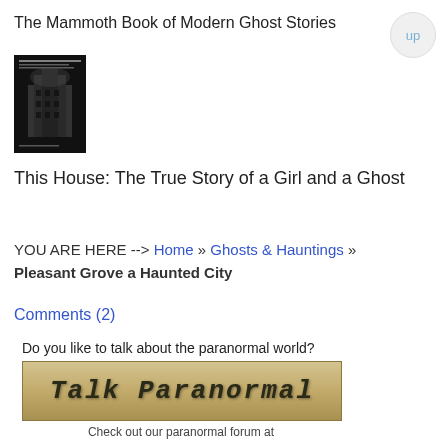The Mammoth Book of Modern Ghost Stories
[Figure (photo): Book cover image showing a dark building silhouette on a black background]
This House: The True Story of a Girl and a Ghost
YOU ARE HERE --> Home » Ghosts & Hauntings » Pleasant Grove a Haunted City
Comments (2)
[Figure (infographic): Talk Paranormal banner advertisement with text 'Do you like to talk about the paranormal world?' and a styled 'Talk Paranormal' banner image, followed by 'Check out our paranormal forum at']